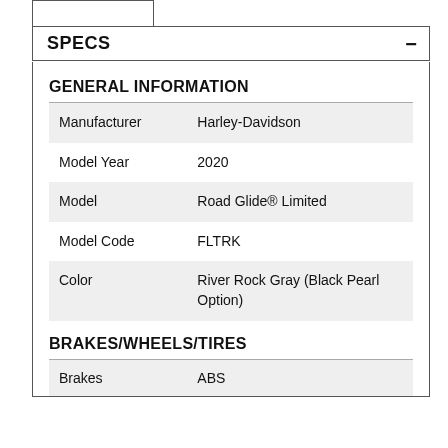SPECS
GENERAL INFORMATION
|  |  |
| --- | --- |
| Manufacturer | Harley-Davidson |
| Model Year | 2020 |
| Model | Road Glide® Limited |
| Model Code | FLTRK |
| Color | River Rock Gray (Black Pearl Option) |
BRAKES/WHEELS/TIRES
|  |  |
| --- | --- |
| Brakes | ABS |